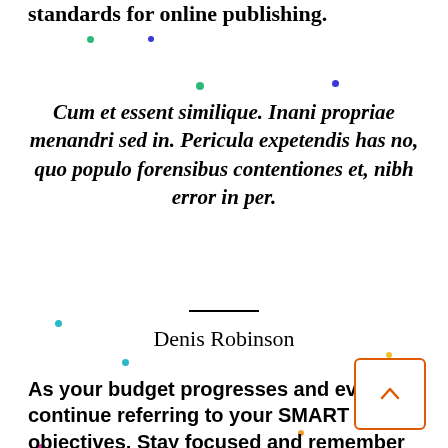provide elegant solutions that set new standards for online publishing.
Cum et essent similique. Inani propriae menandri sed in. Pericula expetendis has no, quo populo forensibus contentiones et, nibh error in per.
Denis Robinson
As your budget progresses and evolves, continue referring to your SMART objectives. Stay focused and remember your goals – they will always inform what your next step will be!